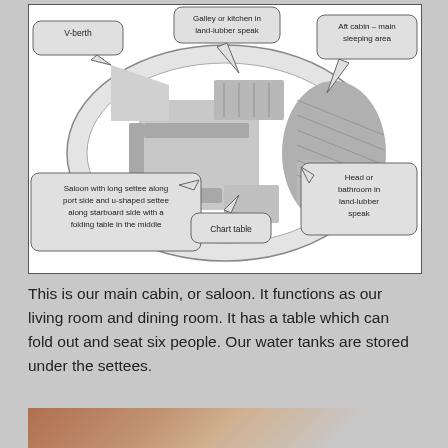[Figure (schematic): Top-down cross-section diagram of a sailboat interior with labeled callout bubbles: V-berth (front left), Galley or kitchen in land-lubber speak (top center), Aft cabin – main sleeping area (top right), Saloon with long settee along port side and u-shaped settee along starboard side with a folding table in the middle (bottom left), Chart table (bottom center), Head or bathroom in land-lubber speak (bottom right)]
This is our main cabin, or saloon. It functions as our living room and dining room. It has a table which can fold out and seat six people. Our water tanks are stored under the settees.
[Figure (photo): Partial photo of boat interior cabin, showing ceiling/overhead and some wooden elements, cropped at bottom of page]